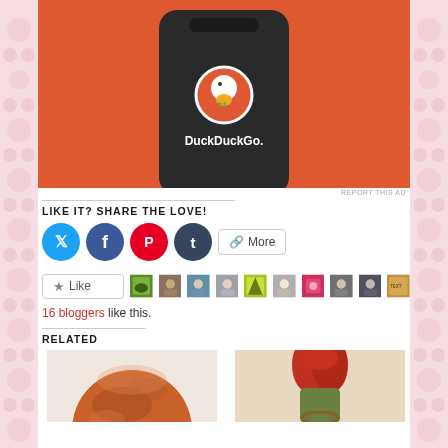[Figure (screenshot): DuckDuckGo app on a phone screen with orange background]
REPORT THIS AD
LIKE IT? SHARE THE LOVE!
[Figure (infographic): Social share buttons: Twitter, Facebook, Pinterest, Tumblr, More]
[Figure (infographic): Like button and 9+ blogger avatar images]
16 bloggers like this.
RELATED
[Figure (photo): Mars planet photo]
[Figure (illustration): Illustration of a woman with long red hair]